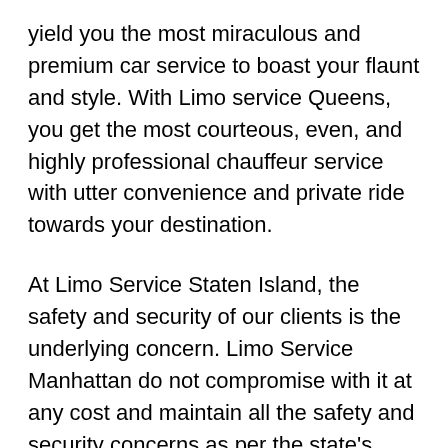yield you the most miraculous and premium car service to boast your flaunt and style. With Limo service Queens, you get the most courteous, even, and highly professional chauffeur service with utter convenience and private ride towards your destination.
At Limo Service Staten Island, the safety and security of our clients is the underlying concern. Limo Service Manhattan do not compromise with it at any cost and maintain all the safety and security concerns as per the state's regulations.
Limo Service NYC heart-throbbing and an elegant range of fleet flatter every attention on the streets of Westerlo, NY. So, to proclaim your style and